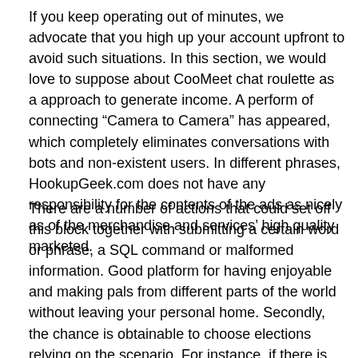If you keep operating out of minutes, we advocate that you high up your account upfront to avoid such situations. In this section, we would love to suppose about CooMeet chat roulette as a approach to generate income. A perform of connecting “Camera to Camera” has appeared, which completely eliminates conversations with bots and non-existent users. In different phrases, HookupGeek.com does not have any responsibility for the contents of the ads as nicely as of the merchandise and services’ high quality marketed.
There are a number of actions that could set off this block together with submitting a certain word or phrase, a SQL command or malformed information. Good platform for having enjoyable and making pals from different parts of the world without leaving your personal home. Secondly, the chance is obtainable to choose elections relying on the scenario. For instance, if there is not a need to work together with this woman, then you’ll be able to put « skip and never find. » The visual row is what you pay attention on any page. The